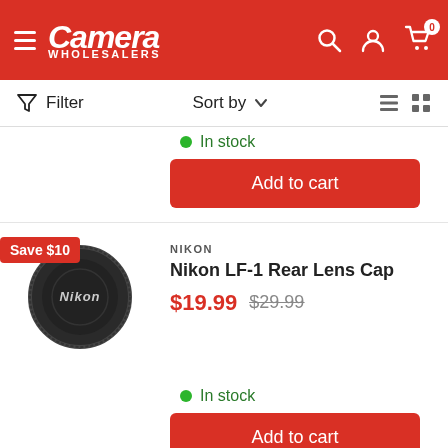[Figure (logo): Camera Wholesalers logo in white on red background header with hamburger menu, search, account, and cart icons]
Filter   Sort by   ▾
In stock
Add to cart
[Figure (photo): Nikon LF-1 Rear Lens Cap, black circular camera lens cap, viewed from above. Save $10 badge in red top-left.]
NIKON
Nikon LF-1 Rear Lens Cap
$19.99  $29.99
In stock
Add to cart